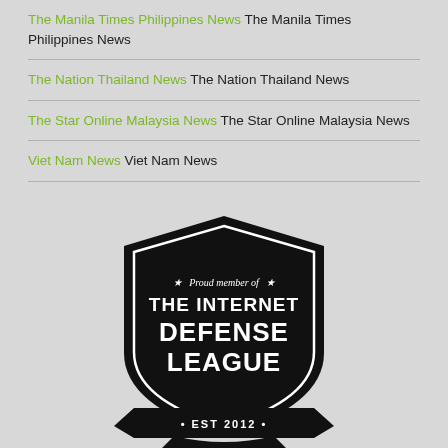The Manila Times Philippines News The Manila Times Philippines News
The Nation Thailand News The Nation Thailand News
The Star Online Malaysia News The Star Online Malaysia News
Viet Nam News Viet Nam News
[Figure (logo): Internet Defense League badge — black shield shape with white text reading 'Proud member of THE INTERNET DEFENSE LEAGUE • EST 2012 •' with star decorations]